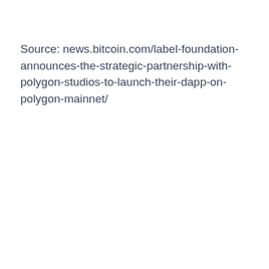Source: news.bitcoin.com/label-foundation-announces-the-strategic-partnership-with-polygon-studios-to-launch-their-dapp-on-polygon-mainnet/